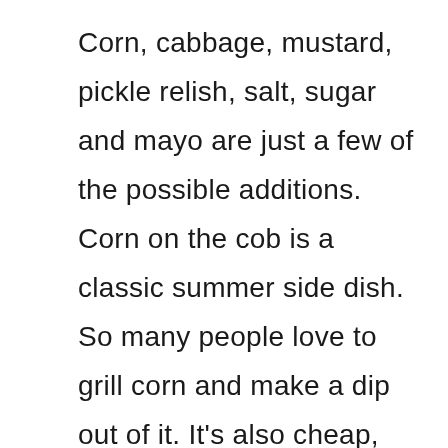Corn, cabbage, mustard, pickle relish, salt, sugar and mayo are just a few of the possible additions. Corn on the cob is a classic summer side dish. So many people love to grill corn and make a dip out of it. It's also cheap, easy to prepare, and versatile with other foods. Corn on the cob goes perfectly with a baked potato or soup and is so simple it can be prepared by someone who has never cooked before.